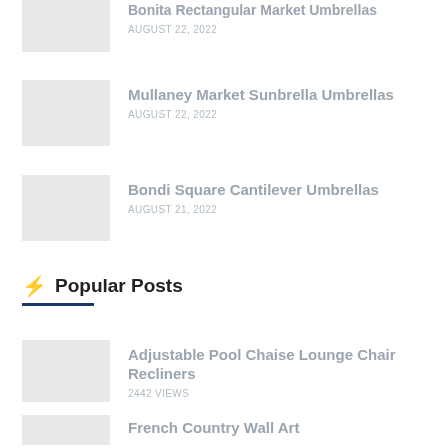Bonita Rectangular Market Umbrellas
AUGUST 22, 2022
Mullaney Market Sunbrella Umbrellas
AUGUST 22, 2022
Bondi Square Cantilever Umbrellas
AUGUST 21, 2022
⚡ Popular Posts
Adjustable Pool Chaise Lounge Chair Recliners
2442 VIEWS
French Country Wall Art